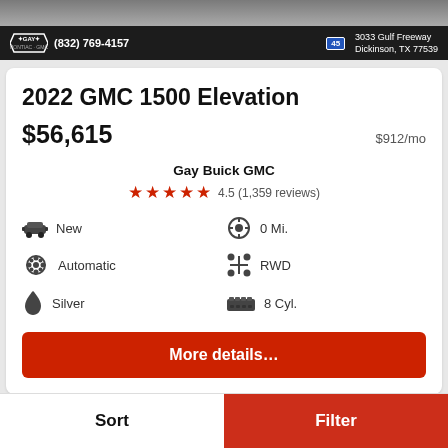[Figure (photo): Top banner showing a car dealership ad for Gay Buick GMC with phone number (832) 769-4157, I-45 badge, and address 3033 Gulf Freeway, Dickinson, TX 77539]
2022 GMC 1500 Elevation
$56,615   $912/mo
Gay Buick GMC
4.5 (1,359 reviews)
New
0 Mi.
Automatic
RWD
Silver
8 Cyl.
More details...
Sort
Filter